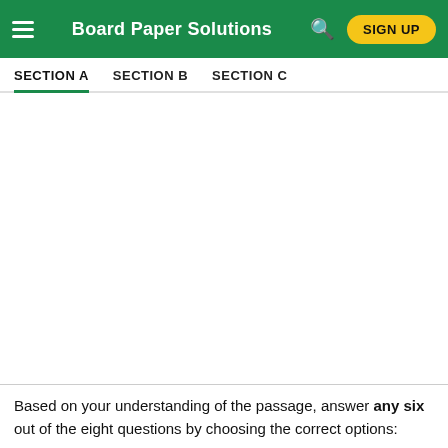Board Paper Solutions
SECTION A  SECTION B  SECTION C
Based on your understanding of the passage, answer any six out of the eight questions by choosing the correct options: